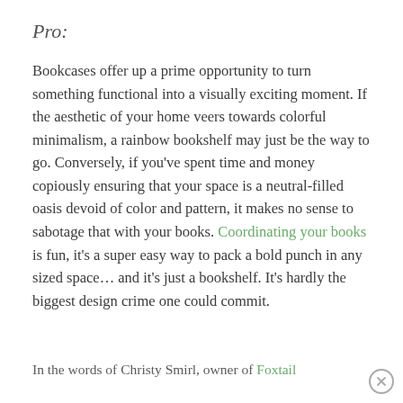Pro:
Bookcases offer up a prime opportunity to turn something functional into a visually exciting moment. If the aesthetic of your home veers towards colorful minimalism, a rainbow bookshelf may just be the way to go. Conversely, if you’ve spent time and money copiously ensuring that your space is a neutral-filled oasis devoid of color and pattern, it makes no sense to sabotage that with your books. Coordinating your books is fun, it’s a super easy way to pack a bold punch in any sized space… and it’s just a bookshelf. It’s hardly the biggest design crime one could commit.
In the words of Christy Smirl, owner of Foxtail